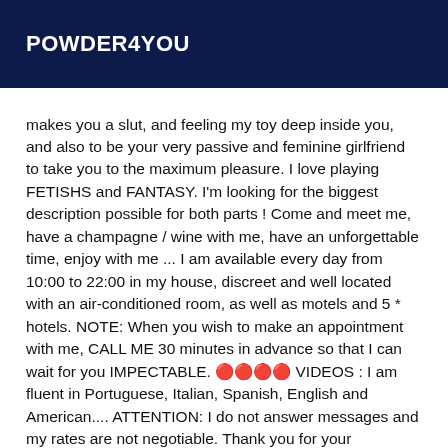POWDER4YOU
makes you a slut, and feeling my toy deep inside you, and also to be your very passive and feminine girlfriend to take you to the maximum pleasure. I love playing FETISHS and FANTASY. I'm looking for the biggest description possible for both parts ! Come and meet me, have a champagne / wine with me, have an unforgettable time, enjoy with me ... I am available every day from 10:00 to 22:00 in my house, discreet and well located with an air-conditioned room, as well as motels and 5 * hotels. NOTE: When you wish to make an appointment with me, CALL ME 30 minutes in advance so that I can wait for you IMPECTABLE. 🔴🔴🔴🔴 VIDEOS : I am fluent in Portuguese, Italian, Spanish, English and American.... ATTENTION: I do not answer messages and my rates are not negotiable. Thank you for your understanding Legal Privacy Policy. Any unauthorized use of my profile, video, images, or audio in any form whatsoever or in any forum or social network now or in